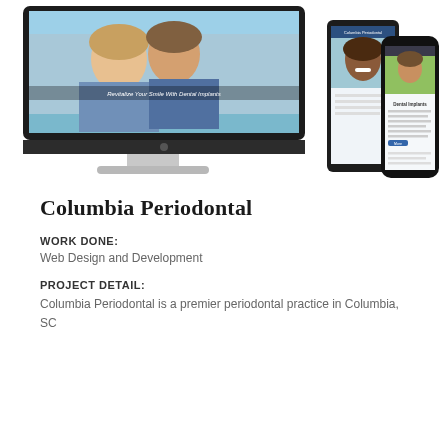[Figure (screenshot): Device mockup showing a dental practice website (Columbia Periodontal) displayed on a desktop monitor, tablet, and smartphone. The monitor shows a couple smiling with text 'Revitalize Your Smile With Dental Implants'. The tablet and phone show responsive versions of the website.]
Columbia Periodontal
WORK DONE:
Web Design and Development
PROJECT DETAIL:
Columbia Periodontal is a premier periodontal practice in Columbia, SC